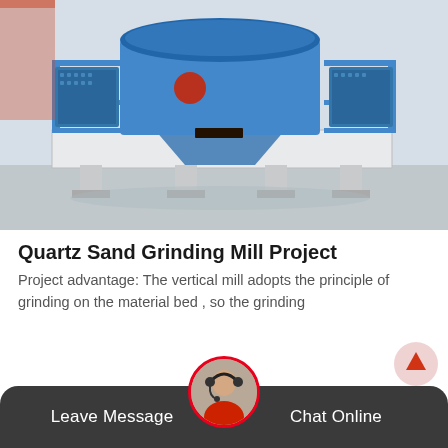[Figure (photo): Large blue industrial vertical grinding mill machine on a white/grey factory floor platform, with metal railings and perforated metal panels, in a factory warehouse setting.]
Quartz Sand Grinding Mill Project
Project advantage: The vertical mill adopts the principle of grinding on the material bed , so the grinding
Details+
Leave Message   Chat Online